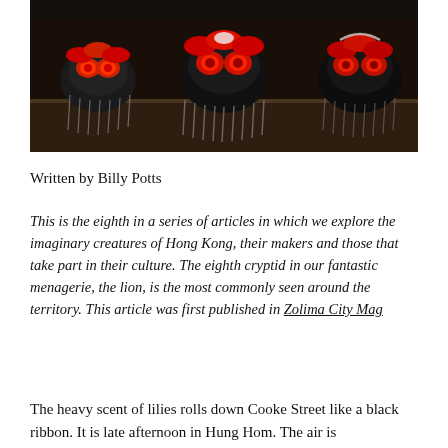[Figure (photo): Colorful Chinese lion dance costume heads/masks displayed on a shelf or step, showing vivid red, black, and white colors with elaborate decorative elements, photographed in low light.]
Written by Billy Potts
This is the eighth in a series of articles in which we explore the imaginary creatures of Hong Kong, their makers and those that take part in their culture. The eighth cryptid in our fantastic menagerie, the lion, is the most commonly seen around the territory. This article was first published in Zolima City Mag
The heavy scent of lilies rolls down Cooke Street like a black ribbon. It is late afternoon in Hung Hom. The air is